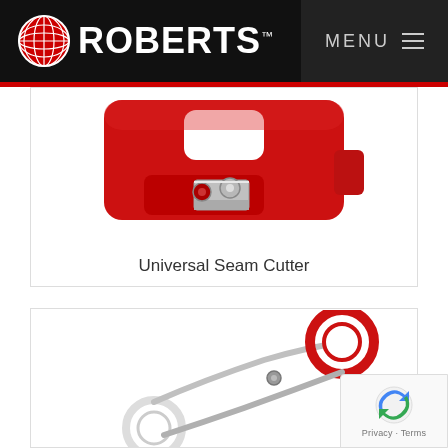ROBERTS™ — MENU
[Figure (photo): Close-up photo of a red Universal Seam Cutter tool with metal blade components visible]
Universal Seam Cutter
[Figure (photo): Partial photo of red-handled scissors/shears product on white background]
[Figure (other): Google reCAPTCHA badge with Privacy and Terms links]